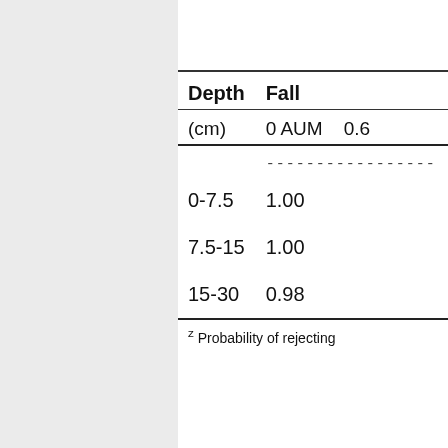| Depth (cm) | Fall 0 AUM | Fall 0.6… |
| --- | --- | --- |
| 0-7.5 | 1.00 |  |
| 7.5-15 | 1.00 |  |
| 15-30 | 0.98 |  |
z Probability of rejecting